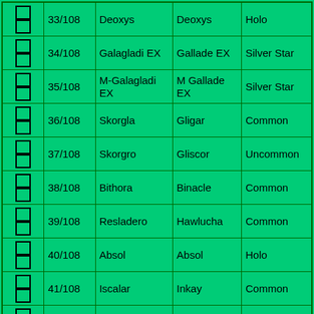|  | Number | Card Name | Pokémon | Rarity |
| --- | --- | --- | --- | --- |
| ☐ ☐ | 33/108 | Deoxys | Deoxys | Holo |
| ☐ ☐ | 34/108 | Galagladi EX | Gallade EX | Silver Star |
| ☐ ☐ | 35/108 | M-Galagladi EX | M Gallade EX | Silver Star |
| ☐ ☐ | 36/108 | Skorgla | Gligar | Common |
| ☐ ☐ | 37/108 | Skorgro | Gliscor | Uncommon |
| ☐ ☐ | 38/108 | Bithora | Binacle | Common |
| ☐ ☐ | 39/108 | Resladero | Hawlucha | Common |
| ☐ ☐ | 40/108 | Absol | Absol | Holo |
| ☐ ☐ | 41/108 | Iscalar | Inkay | Common |
| ☐ ☐ | 42/108 | Jirachi | Jirachi | Holo |
| ☐ ☐ | 43/108 | Togepi | Togepi | Common |
| ☐ ☐ | 44/108 | Togetic | Togetic | Uncommon |
| ☐ ☐ | 45/108 | Togekiss | Togekiss | Rare |
| ☐ ☐ | 46/108 | Togekiss | Togekiss | Holo |